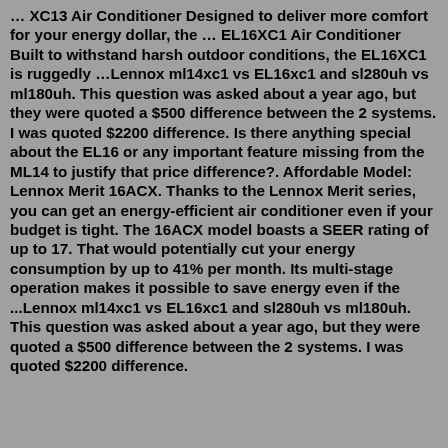… XC13 Air Conditioner Designed to deliver more comfort for your energy dollar, the … EL16XC1 Air Conditioner Built to withstand harsh outdoor conditions, the EL16XC1 is ruggedly …Lennox ml14xc1 vs EL16xc1 and sl280uh vs ml180uh. This question was asked about a year ago, but they were quoted a $500 difference between the 2 systems. I was quoted $2200 difference. Is there anything special about the EL16 or any important feature missing from the ML14 to justify that price difference?. Affordable Model: Lennox Merit 16ACX. Thanks to the Lennox Merit series, you can get an energy-efficient air conditioner even if your budget is tight. The 16ACX model boasts a SEER rating of up to 17. That would potentially cut your energy consumption by up to 41% per month. Its multi-stage operation makes it possible to save energy even if the ...Lennox ml14xc1 vs EL16xc1 and sl280uh vs ml180uh. This question was asked about a year ago, but they were quoted a $500 difference between the 2 systems. I was quoted $2200 difference. Is there anything special about this...